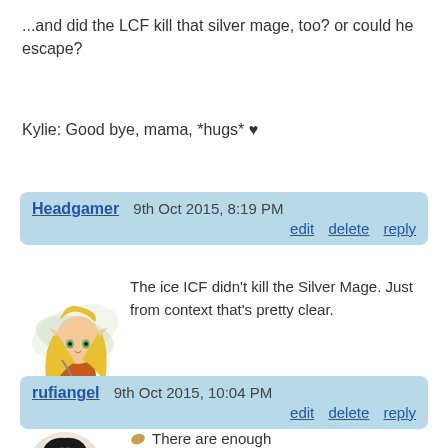...and did the LCF kill that silver mage, too? or could he escape?
Kylie: Good bye, mama, *hugs* ♥
Headgamer   9th Oct 2015, 8:19 PM   edit  delete  reply
[Figure (illustration): Anime-style character illustration: a small fairy/elf creature with blonde hair, wings, and green outfit]
The ice ICF didn't kill the Silver Mage. Just from context that's pretty clear.
rufiangel   9th Oct 2015, 10:04 PM   edit  delete  reply
[Figure (illustration): Cartoon avatar of a person with dark hair, partially visible]
There are enough clues in the comic so